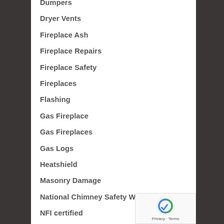Dumpers
Dryer Vents
Fireplace Ash
Fireplace Repairs
Fireplace Safety
Fireplaces
Flashing
Gas Fireplace
Gas Fireplaces
Gas Logs
Heatshield
Masonry Damage
National Chimney Safety Week
NFI certified